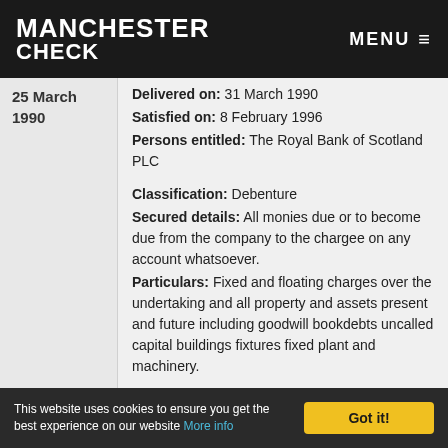MANCHESTER CHECK | MENU ≡
25 March 1990
Delivered on: 31 March 1990
Satisfied on: 8 February 1996
Persons entitled: The Royal Bank of Scotland PLC

Classification: Debenture
Secured details: All monies due or to become due from the company to the chargee on any account whatsoever.
Particulars: Fixed and floating charges over the undertaking and all property and assets present and future including goodwill bookdebts uncalled capital buildings fixtures fixed plant and machinery.
FULLY SATISFIED
This website uses cookies to ensure you get the best experience on our website More info | Got it!